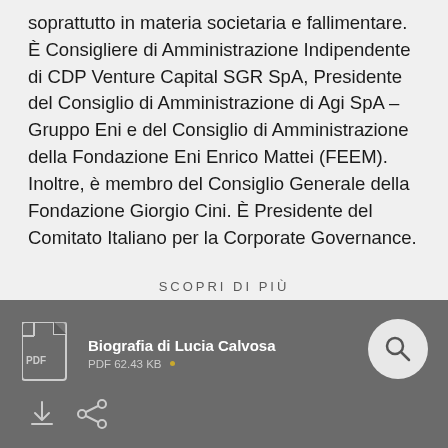soprattutto in materia societaria e fallimentare. È Consigliere di Amministrazione Indipendente di CDP Venture Capital SGR SpA, Presidente del Consiglio di Amministrazione di Agi SpA – Gruppo Eni e del Consiglio di Amministrazione della Fondazione Eni Enrico Mattei (FEEM). Inoltre, è membro del Consiglio Generale della Fondazione Giorgio Cini. È Presidente del Comitato Italiano per la Corporate Governance.
SCOPRI DI PIÙ
Biografia di Lucia Calvosa
PDF 62.43 KB •